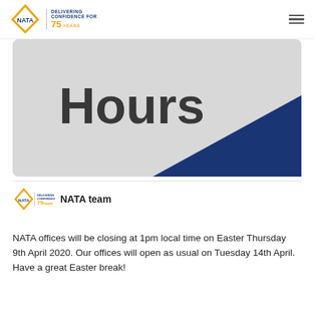NATA — Delivering Confidence for 75 Years
[Figure (photo): A sign or placard showing the word 'Hours' in large bold text, with a blue triangle in the lower right corner, set against a light grey stone-textured background.]
NATA team
NATA offices will be closing at 1pm local time on Easter Thursday 9th April 2020. Our offices will open as usual on Tuesday 14th April. Have a great Easter break!